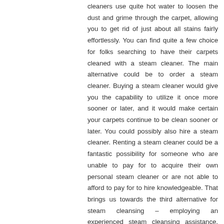cleaners use quite hot water to loosen the dust and grime through the carpet, allowing you to get rid of just about all stains fairly effortlessly. You can find quite a few choice for folks searching to have their carpets cleaned with a steam cleaner. The main alternative could be to order a steam cleaner. Buying a steam cleaner would give you the capability to utilize it once more sooner or later, and it would make certain your carpets continue to be clean sooner or later. You could possibly also hire a steam cleaner. Renting a steam cleaner could be a fantastic possibility for someone who are unable to pay for to acquire their own personal steam cleaner or are not able to afford to pay for to hire knowledgeable. That brings us towards the third alternative for steam cleansing – employing an experienced steam cleansing assistance. Using the services of a specialist steam cleaning company would make certain that the carpets are as cleanse since they can possibly get.